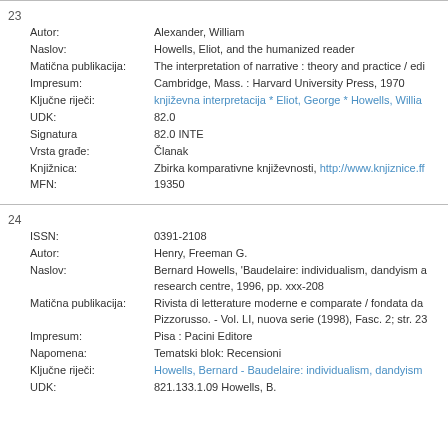23
| Field | Value |
| --- | --- |
| Autor: | Alexander, William |
| Naslov: | Howells, Eliot, and the humanized reader |
| Matična publikacija: | The interpretation of narrative : theory and practice / edi |
| Impresum: | Cambridge, Mass. : Harvard University Press, 1970 |
| Ključne riječi: | književna interpretacija * Eliot, George * Howells, Willia... |
| UDK: | 82.0 |
| Signatura | 82.0 INTE |
| Vrsta građe: | Članak |
| Knjižnica: | Zbirka komparativne književnosti, http://www.knjiznice.ff... |
| MFN: | 19350 |
24
| Field | Value |
| --- | --- |
| ISSN: | 0391-2108 |
| Autor: | Henry, Freeman G. |
| Naslov: | Bernard Howells, 'Baudelaire: individualism, dandyism a... research centre, 1996, pp. xxx-208 |
| Matična publikacija: | Rivista di letterature moderne e comparate / fondata da... Pizzorusso. - Vol. LI, nuova serie (1998), Fasc. 2; str. 23... |
| Impresum: | Pisa : Pacini Editore |
| Napomena: | Tematski blok: Recensioni |
| Ključne riječi: | Howells, Bernard - Baudelaire: individualism, dandyism... |
| UDK: | 821.133.1.09 Howells, B. |